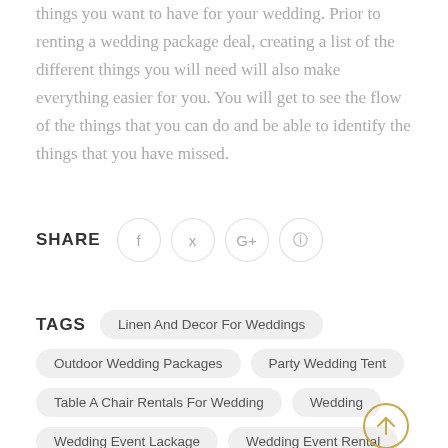things you want to have for your wedding. Prior to renting a wedding package deal, creating a list of the different things you will need will also make everything easier for you. You will get to see the flow of the things that you can do and be able to identify the things that you have missed.
SHARE
TAGS
Linen And Decor For Weddings
Outdoor Wedding Packages
Party Wedding Tent
Table A Chair Rentals For Wedding
Wedding
Wedding Event Lackage
Wedding Event Rental